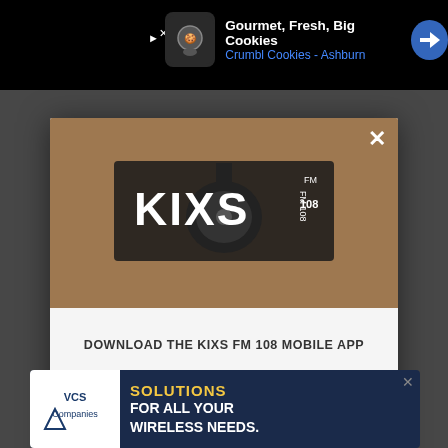[Figure (screenshot): Top ad banner showing Crumbl Cookies - Ashburn advertisement with cookie icon and navigation arrows]
[Figure (logo): KIXS FM 108 radio station logo with guitar graphic on brown background in modal header]
DOWNLOAD THE KIXS FM 108 MOBILE APP
GET OUR FREE MOBILE APP
Also listen on:  amazon alexa
[Figure (screenshot): Bottom banner ad for VCS Companies - Solutions For All Your Wireless Needs]